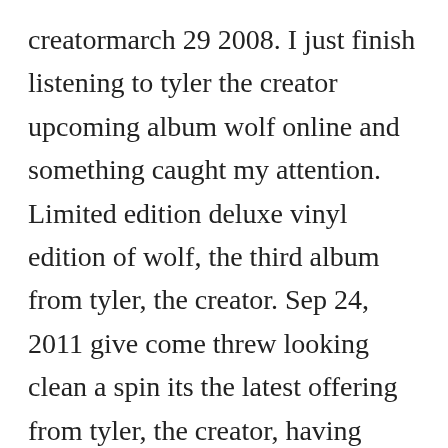creatormarch 29 2008. I just finish listening to tyler the creator upcoming album wolf online and something caught my attention. Limited edition deluxe vinyl edition of wolf, the third album from tyler, the creator. Sep 24, 2011 give come threw looking clean a spin its the latest offering from tyler, the creator, having dropped on saturday, september 24th, 2011. Trashwang explicit by the creator featuring nakel, jasper, lucas. Use tyler the creatortrashwang and thousands of other assets to build an immersive game or experience. I'll be continuing to combine